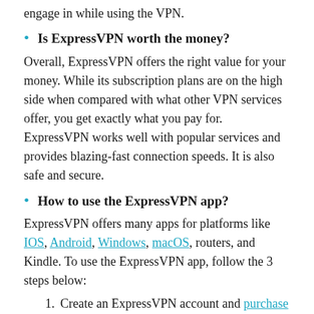engage in while using the VPN.
Is ExpressVPN worth the money?
Overall, ExpressVPN offers the right value for your money. While its subscription plans are on the high side when compared with what other VPN services offer, you get exactly what you pay for. ExpressVPN works well with popular services and provides blazing-fast connection speeds. It is also safe and secure.
How to use the ExpressVPN app?
ExpressVPN offers many apps for platforms like IOS, Android, Windows, macOS, routers, and Kindle. To use the ExpressVPN app, follow the 3 steps below:
1. Create an ExpressVPN account and purchase a subscription plan.
2. Download the right ExpressVPN app for the device – Apple Store | Google Play.